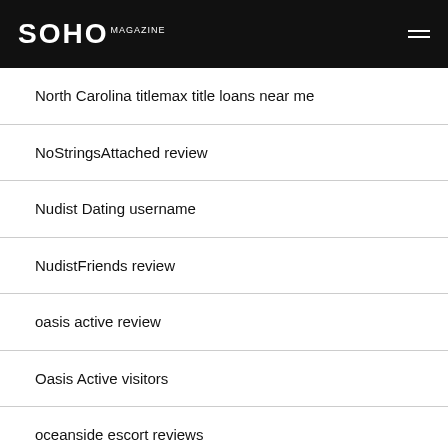SOHO
North Carolina titlemax title loans near me
NoStringsAttached review
Nudist Dating username
NudistFriends review
oasis active review
Oasis Active visitors
oceanside escort reviews
Omegle review